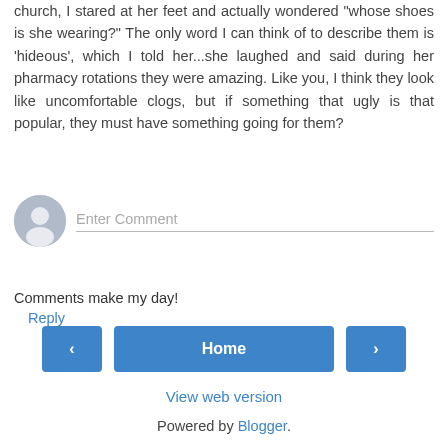church, I stared at her feet and actually wondered "whose shoes is she wearing?" The only word I can think of to describe them is 'hideous', which I told her...she laughed and said during her pharmacy rotations they were amazing. Like you, I think they look like uncomfortable clogs, but if something that ugly is that popular, they must have something going for them?
Reply
[Figure (illustration): User avatar circle icon for comment input field]
Enter Comment
Comments make my day!
‹
Home
›
View web version
Powered by Blogger.